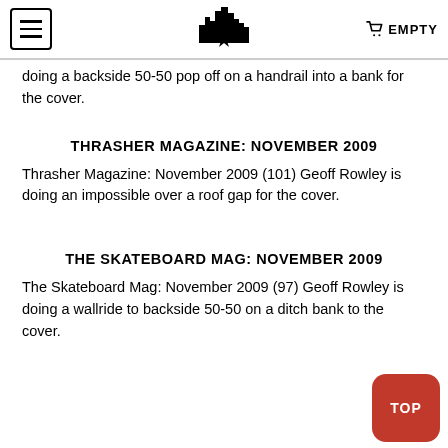EMPTY
doing a backside 50-50 pop off on a handrail into a bank for the cover.
THRASHER MAGAZINE: NOVEMBER 2009
Thrasher Magazine: November 2009 (101) Geoff Rowley is doing an impossible over a roof gap for the cover.
THE SKATEBOARD MAG: NOVEMBER 2009
The Skateboard Mag: November 2009 (97) Geoff Rowley is doing a wallride to backside 50-50 on a ditch bank to the cover.